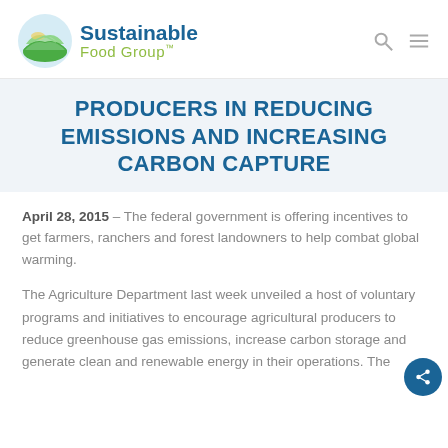Sustainable Food Group™
PRODUCERS IN REDUCING EMISSIONS AND INCREASING CARBON CAPTURE
April 28, 2015 – The federal government is offering incentives to get farmers, ranchers and forest landowners to help combat global warming.
The Agriculture Department last week unveiled a host of voluntary programs and initiatives to encourage agricultural producers to reduce greenhouse gas emissions, increase carbon storage and generate clean and renewable energy in their operations. The